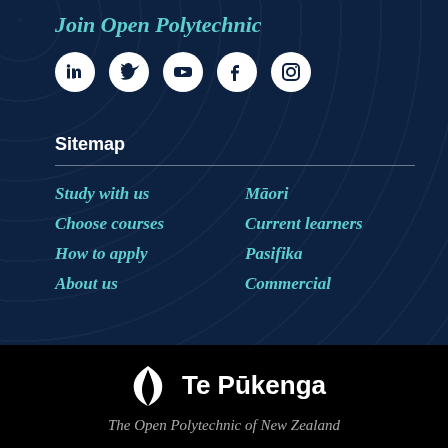Join Open Polytechnic
[Figure (other): Social media icons row: LinkedIn, Twitter, YouTube, Facebook, Instagram — white circles on dark navy background]
Sitemap
Study with us
Māori
Choose courses
Current learners
How to apply
Pasifika
About us
Commercial
[Figure (logo): Te Pūkenga logo: stylised white koru/wing emblem with 'Te Pūkenga' text in white on black background]
The Open Polytechnic of New Zealand